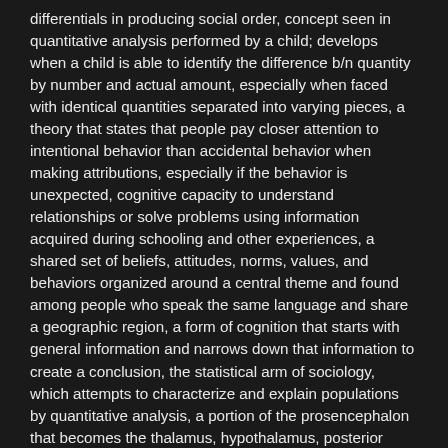differentials in producing social order, concept seen in quantitative analysis performed by a child; develops when a child is able to identify the difference b/n quantity by number and actual amount, especially when faced with identical quantities separated into varying pieces, a theory that states that people pay closer attention to intentional behavior than accidental behavior when making attributions, especially if the behavior is unexpected, cognitive capacity to understand relationships or solve problems using information acquired during schooling and other experiences, a shared set of beliefs, attitudes, norms, values, and behaviors organized around a central theme and found among people who speak the same language and share a geographic region, a form of cognition that starts with general information and narrows down that information to create a conclusion, the statistical arm of sociology, which attempts to characterize and explain populations by quantitative analysis, a portion of the prosencephalon that becomes the thalamus, hypothalamus, posterior pituitary gland, and pineal gland, the idea that states that if evidence obtained during testing does not confirm a hypothesis, then the hypothesis is discarded or revised, In classical conditioning, the process by which two similar but distinct conditioned stimuli produce different responses, cultural expectations of how emotions can be expressed, the side of brain that provides analytic, language, logic, and math skills; in most individuals, the left hemisphere, a neurotransmitter associated with smooth movements, steady posture, the reward pathway, and psychosis, an impression management theory that represents the world as a stage and...